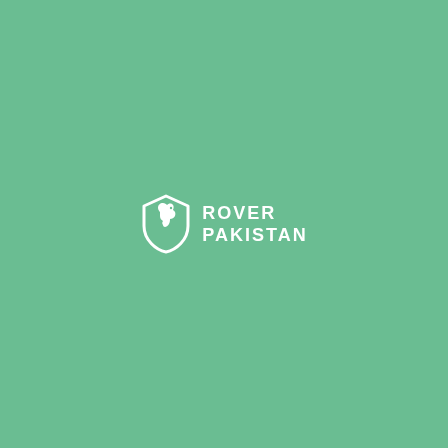[Figure (logo): Rover Pakistan logo: a white shield icon with a horse head silhouette on the left, and the text 'ROVER' on the first line and 'PAKISTAN' on the second line in white bold uppercase letters, centered on a medium green background.]